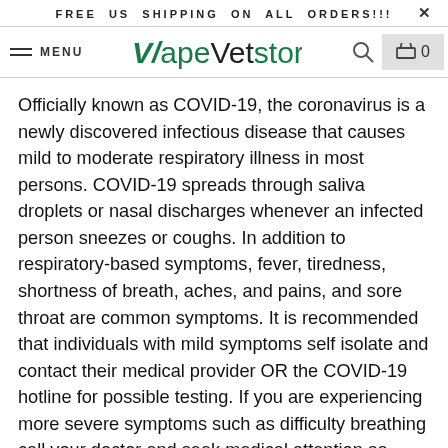FREE US SHIPPING ON ALL ORDERS!!!
[Figure (logo): VapeVet store logo with stylized V/slash and green text]
Officially known as COVID-19, the coronavirus is a newly discovered infectious disease that causes mild to moderate respiratory illness in most persons. COVID-19 spreads through saliva droplets or nasal discharges whenever an infected person sneezes or coughs. In addition to respiratory-based symptoms, fever, tiredness, shortness of breath, aches, and pains, and sore throat are common symptoms. It is recommended that individuals with mild symptoms self isolate and contact their medical provider OR the COVID-19 hotline for possible testing. If you are experiencing more severe symptoms such as difficulty breathing call your doctor and seek medical attention as soon as possible. Also, keep in mind that you may be